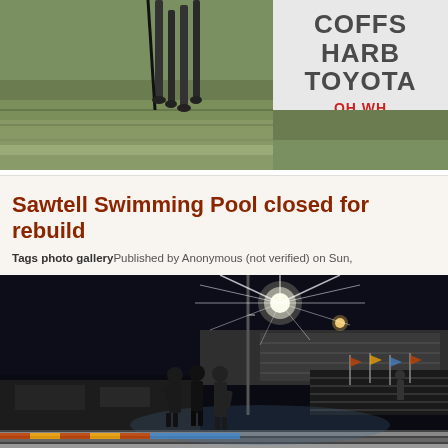[Figure (photo): Partial photo showing horse legs on green grass, with a Coffs Harbour Toyota dealership sign visible on the right side cropped at the edge. Sign text reads 'COFFS HARB... TOYOTA' and 'OH WH...' in red.]
Sawtell Swimming Pool closed for rebuild
Tags photo gallery Published by Anonymous (not verified) on Sun,
[Figure (photo): Night-time photograph of what appears to be a swimming pool facility or sports ground, with bright floodlights creating a starburst effect, people standing in the foreground, bleacher seating visible, and lane ropes or pool markers visible.]